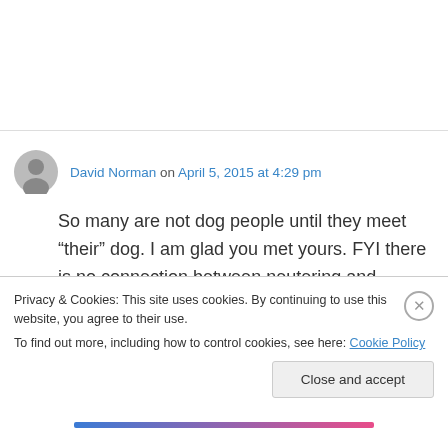David Norman on April 5, 2015 at 4:29 pm
So many are not dog people until they meet “their” dog. I am glad you met yours. FYI there is no connection between neutering and weight/energy. Humping is more about dominance than sex. And neutered dogs have fewer health problems over the course of their
Privacy & Cookies: This site uses cookies. By continuing to use this website, you agree to their use.
To find out more, including how to control cookies, see here: Cookie Policy
Close and accept